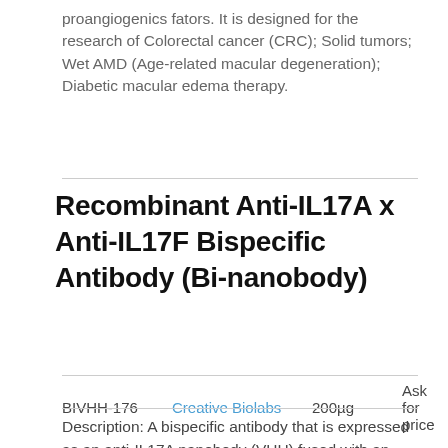proangiogenics fators. It is designed for the research of Colorectal cancer (CRC); Solid tumors; Wet AMD (Age-related macular degeneration); Diabetic macular edema therapy.
Recombinant Anti-IL17A x Anti-IL17F Bispecific Antibody (Bi-nanobody)
BIVHH-176   Creative Biolabs   200µg   Ask for price
Description: A bispecific antibody that is expressed as an anti-IL17A nanobody (VHH) fused with an anti-IL17F nanobody (VHH), contains a His-tag at the C/N terminus for affinity purification. This BsAb can block two proinflammatory cytokines simultaneously. It is designed for the research of Multiple sclerosis (MS); Autoimmune